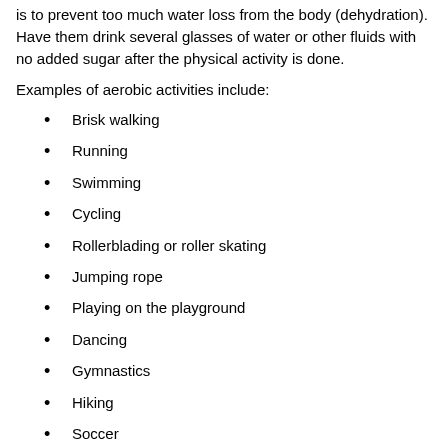is to prevent too much water loss from the body (dehydration). Have them drink several glasses of water or other fluids with no added sugar after the physical activity is done.
Examples of aerobic activities include:
Brisk walking
Running
Swimming
Cycling
Rollerblading or roller skating
Jumping rope
Playing on the playground
Dancing
Gymnastics
Hiking
Soccer
Tag games